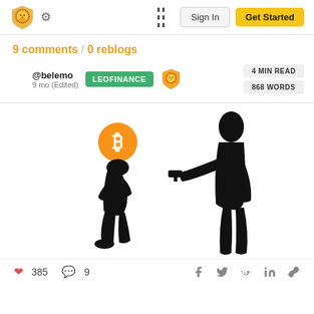LeoFinance navigation bar with logo, gear icon, grid icon, Sign In and Get Started buttons
9 comments / 0 reblogs
@belemo 9 mo (Edited) LEOFINANCE 4 MIN READ 868 WORDS
[Figure (illustration): Black silhouette of a person kneeling with a Bitcoin coin for a head, and another black silhouette standing pointing a gun at them]
385 likes, 9 comments, Facebook, Twitter, Reddit, LinkedIn, link share icons